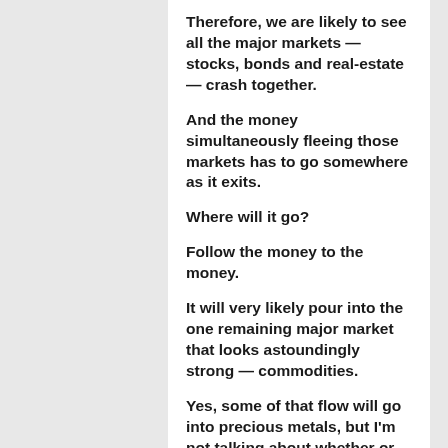Therefore, we are likely to see all the major markets — stocks, bonds and real-estate — crash together.
And the money simultaneously fleeing those markets has to go somewhere as it exits.
Where will it go?
Follow the money to the money.
It will very likely pour into the one remaining major market that looks astoundingly strong — commodities.
Yes, some of that flow will go into precious metals, but I'm not talking about whether or not your gold goes up, though I'm sure it will.
A huge number of investors are about to realize that not only are ALL the commodities that people need or want via all the products they